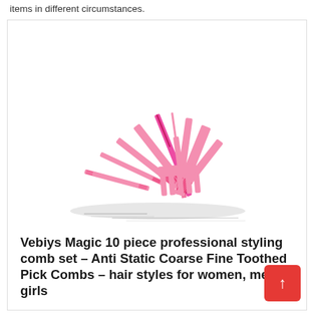items in different circumstances.
[Figure (photo): A fan-shaped arrangement of 10 pink hair combs of various types (wide tooth, fine tooth, pick, rat tail, etc.) displayed on a white background with shadow beneath.]
Vebiys Magic 10 piece professional styling comb set – Anti Static Coarse Fine Toothed Pick Combs – hair styles for women, men, girls